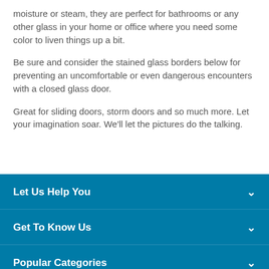moisture or steam, they are perfect for bathrooms or any other glass in your home or office where you need some color to liven things up a bit.
Be sure and consider the stained glass borders below for preventing an uncomfortable or even dangerous encounters with a closed glass door.
Great for sliding doors, storm doors and so much more. Let your imagination soar. We'll let the pictures do the talking.
Let Us Help You
Get To Know Us
Popular Categories